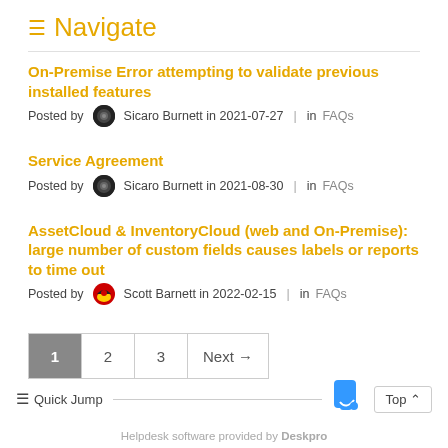Navigate
On-Premise Error attempting to validate previous installed features
Posted by Sicaro Burnett in 2021-07-27 | in FAQs
Service Agreement
Posted by Sicaro Burnett in 2021-08-30 | in FAQs
AssetCloud & InventoryCloud (web and On-Premise): large number of custom fields causes labels or reports to time out
Posted by Scott Barnett in 2022-02-15 | in FAQs
1  2  3  Next →
Quick Jump  Top  Helpdesk software provided by Deskpro